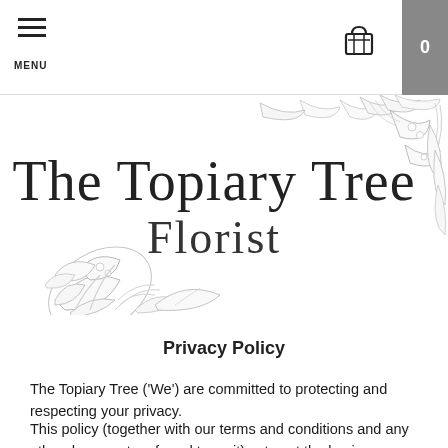MENU | 0
[Figure (logo): The Topiary Tree Florist logo with hand-drawn tropical foliage illustration surrounding serif text reading 'The Topiary Tree Florist']
Privacy Policy
The Topiary Tree ('We') are committed to protecting and respecting your privacy.
This policy (together with our terms and conditions and any other documents referred to on it) sets out the basis on which any personal